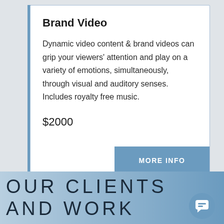Brand Video
Dynamic video content & brand videos can grip your viewers' attention and play on a variety of emotions, simultaneously, through visual and auditory senses. Includes royalty free music.
$2000
MORE INFO
OUR CLIENTS AND WORK